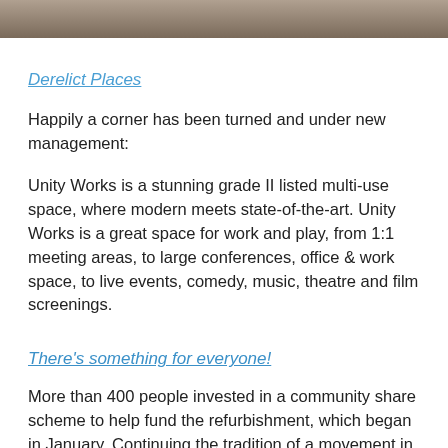[Figure (photo): Partial view of a photograph at the top of the page showing what appears to be a building interior or surface.]
Derelict Places
Happily a corner has been turned and under new management:
Unity Works is a stunning grade II listed multi-use space, where modern meets state-of-the-art. Unity Works is a great space for work and play, from 1:1 meeting areas, to large conferences, office & work space, to live events, comedy, music, theatre and film screenings.
There's something for everyone!
More than 400 people invested in a community share scheme to help fund the refurbishment, which began in January. Continuing the tradition of a movement in this architectural gem, which was established as the Wakefield